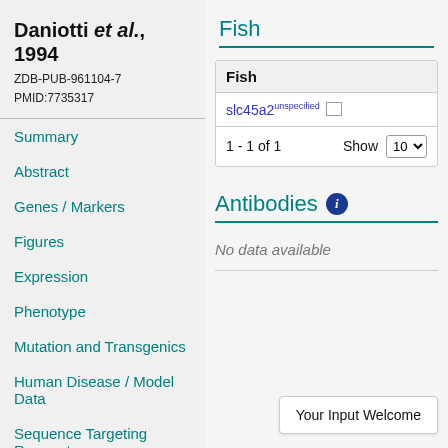Daniotti et al., 1994
ZDB-PUB-961104-7
PMID:7735317
Summary
Abstract
Genes / Markers
Figures
Expression
Phenotype
Mutation and Transgenics
Human Disease / Model Data
Sequence Targeting Reagents
Fish
| Fish |
| --- |
| slc45a2unspecified |
1 - 1 of 1    Show 10
Antibodies
No data available
Your Input Welcome